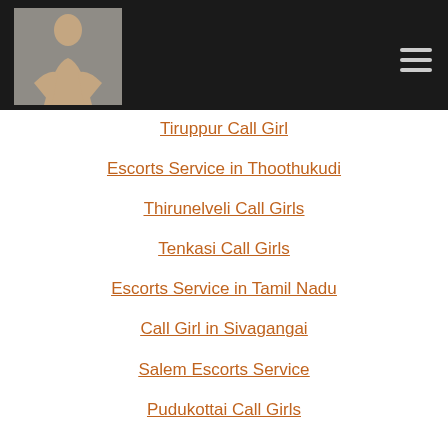[Figure (photo): Woman posing photo used as website logo/header image on dark background]
Tiruppur Call Girl
Escorts Service in Thoothukudi
Thirunelveli Call Girls
Tenkasi Call Girls
Escorts Service in Tamil Nadu
Call Girl in Sivagangai
Salem Escorts Service
Pudukottai Call Girls